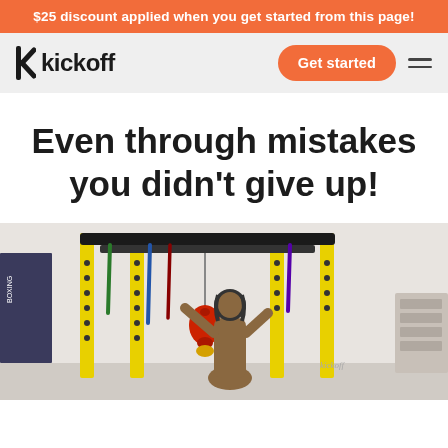$25 discount applied when you get started from this page!
kickoff
Get started
Even through mistakes you didn't give up!
[Figure (photo): Person training in a home gym with a yellow and black power rack, resistance bands, a speed bag, and wearing a boxing helmet.]